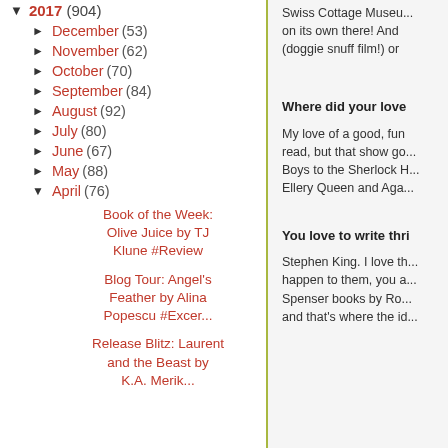▼ 2017 (904)
► December (53)
► November (62)
► October (70)
► September (84)
► August (92)
► July (80)
► June (67)
► May (88)
▼ April (76)
Book of the Week: Olive Juice by TJ Klune #Review
Blog Tour: Angel's Feather by Alina Popescu #Excer...
Release Blitz: Laurent and the Beast by K.A. Merik...
Swiss Cottage Museu... on its own there! And (doggie snuff film!) or
Where did your love
My love of a good, fun read, but that show go... Boys to the Sherlock H... Ellery Queen and Aga...
You love to write thri
Stephen King. I love th... happen to them, you a... Spenser books by Ro... and that's where the id...